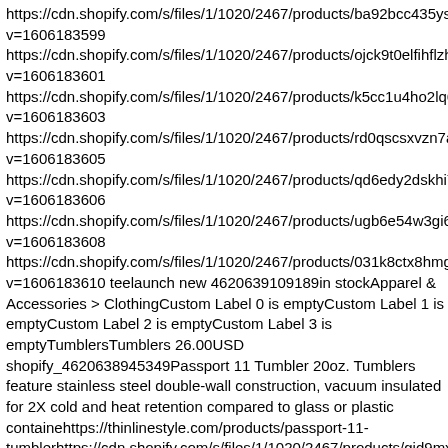https://cdn.shopify.com/s/files/1/1020/2467/products/ba92bcc435ysp v=1606183599
https://cdn.shopify.com/s/files/1/1020/2467/products/ojck9t0elfihflzh v=1606183601
https://cdn.shopify.com/s/files/1/1020/2467/products/k5cc1u4ho2lq6 v=1606183603
https://cdn.shopify.com/s/files/1/1020/2467/products/rd0qscsxvzn7ag v=1606183605
https://cdn.shopify.com/s/files/1/1020/2467/products/qd6edy2dskhi7 v=1606183606
https://cdn.shopify.com/s/files/1/1020/2467/products/ugb6e54w3gi6e v=1606183608
https://cdn.shopify.com/s/files/1/1020/2467/products/031k8ctx8hmgh v=1606183610 teelaunch new 4620639109189in stockApparel & Accessories > ClothingCustom Label 0 is emptyCustom Label 1 is emptyCustom Label 2 is emptyCustom Label 3 is emptyTumblersTumblers 26.00USD shopify_4620638945349Passport 11 Tumbler 20oz. Tumblers feature stainless steel double-wall construction, vacuum insulated for 2X cold and heat retention compared to glass or plastic containehttps://thinlinestyle.com/products/passport-11-tumblerhttps://cdn.shopify.com/s/files/1/1020/2467/products/gjd9mx v=1606183527
https://cdn.shopify.com/s/files/1/1020/2467/products/o83hxypr0cin7 v=1606183529